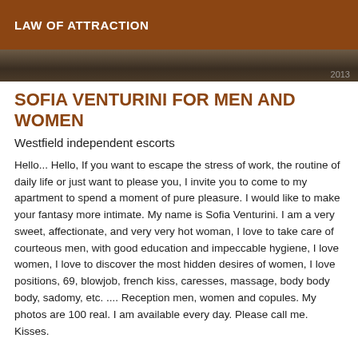LAW OF ATTRACTION
[Figure (photo): Partial photo strip showing a dark brown/sepia toned image with text '2013' visible in the bottom right]
SOFIA VENTURINI FOR MEN AND WOMEN
Westfield independent escorts
Hello... Hello, If you want to escape the stress of work, the routine of daily life or just want to please you, I invite you to come to my apartment to spend a moment of pure pleasure. I would like to make your fantasy more intimate. My name is Sofia Venturini. I am a very sweet, affectionate, and very very hot woman, I love to take care of courteous men, with good education and impeccable hygiene, I love women, I love to discover the most hidden desires of women, I love positions, 69, blowjob, french kiss, caresses, massage, body body body, sadomy, etc. .... Reception men, women and copules. My photos are 100 real. I am available every day. Please call me. Kisses.